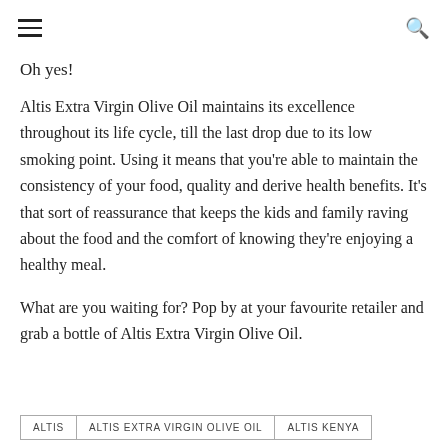≡  🔍
Oh yes!
Altis Extra Virgin Olive Oil maintains its excellence throughout its life cycle, till the last drop due to its low smoking point. Using it means that you're able to maintain the consistency of your food, quality and derive health benefits. It's that sort of reassurance that keeps the kids and family raving about the food and the comfort of knowing they're enjoying a healthy meal.
What are you waiting for? Pop by at your favourite retailer and grab a bottle of Altis Extra Virgin Olive Oil.
ALTIS
ALTIS EXTRA VIRGIN OLIVE OIL
ALTIS KENYA